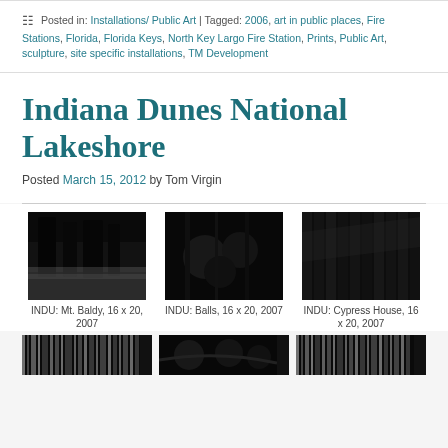Posted in: Installations/ Public Art | Tagged: 2006, art in public places, Fire Stations, Florida, Florida Keys, North Key Largo Fire Station, Prints, Public Art, sculpture, site specific installations, TM Development
Indiana Dunes National Lakeshore
Posted March 15, 2012 by Tom Virgin
[Figure (photo): Black and white artistic photo - INDU: Mt. Baldy]
INDU: Mt. Baldy, 16 x 20, 2007
[Figure (photo): Black and white artistic photo - INDU: Balls]
INDU: Balls, 16 x 20, 2007
[Figure (photo): Black and white artistic photo - INDU: Cypress House]
INDU: Cypress House, 16 x 20, 2007
[Figure (photo): Black and white artistic photo - bottom row left]
[Figure (photo): Black and white artistic photo - bottom row center]
[Figure (photo): Black and white artistic photo - bottom row right]